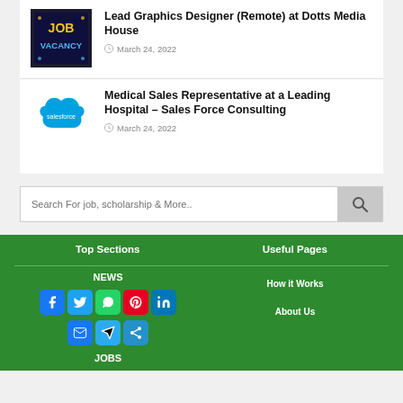[Figure (logo): Job Vacancy logo with yellow JOB text and blue VACANCY text on dark background]
Lead Graphics Designer (Remote) at Dotts Media House
March 24, 2022
[Figure (logo): Salesforce cloud logo in blue]
Medical Sales Representative at a Leading Hospital – Sales Force Consulting
March 24, 2022
Search For job, scholarship & More..
Top Sections
Useful Pages
NEWS
How it Works
JOBS
About Us